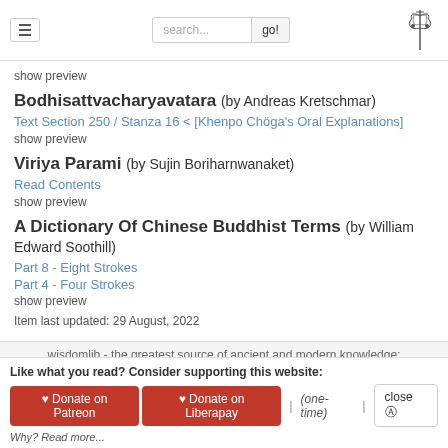search... go!
show preview
Bodhisattvacharyavatara (by Andreas Kretschmar)
Text Section 250 / Stanza 16 < [Khenpo Chöga's Oral Explanations]
show preview
Viriya Parami (by Sujin Boriharnwanaket)
Read Contents
show preview
A Dictionary Of Chinese Buddhist Terms (by William Edward Soothill)
Part 8 - Eight Strokes
Part 4 - Four Strokes
show preview
Item last updated: 29 August, 2022
wisdomlib - the greatest source of ancient and modern knowledge;
Like what you read? Consider supporting this website: ♥ Donate on Patreon ♥ Donate on Liberapay | (one-time) | close Why? Read more...